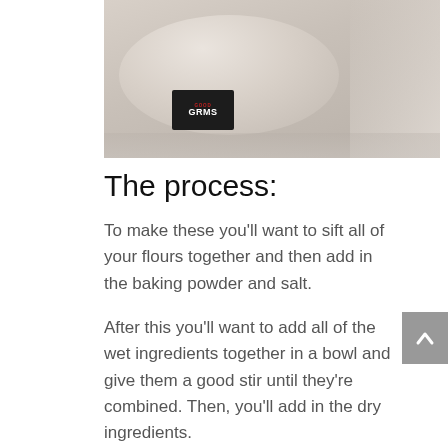[Figure (photo): A bowl with oats and a dark label reading 'GOOD' visible, with flour or powder around it on a surface.]
The process:
To make these you’ll want to sift all of your flours together and then add in the baking powder and salt.
After this you’ll want to add all of the wet ingredients together in a bowl and give them a good stir until they’re combined. Then, you’ll add in the dry ingredients.
Once all of the ingredients are combined you’ll want to make a large bowl in the center of a pan with parchment paper and flatten it into a 6-7 inch circle. This is a rough estimate but that